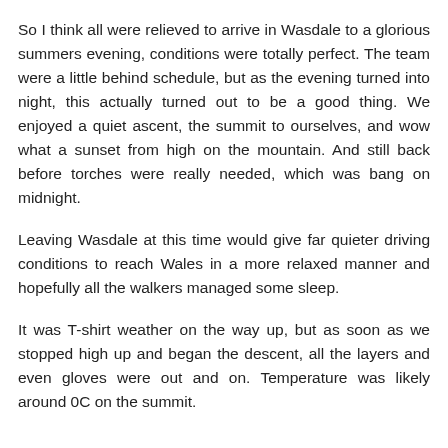So I think all were relieved to arrive in Wasdale to a glorious summers evening, conditions were totally perfect. The team were a little behind schedule, but as the evening turned into night, this actually turned out to be a good thing. We enjoyed a quiet ascent, the summit to ourselves, and wow what a sunset from high on the mountain. And still back before torches were really needed, which was bang on midnight.
Leaving Wasdale at this time would give far quieter driving conditions to reach Wales in a more relaxed manner and hopefully all the walkers managed some sleep.
It was T-shirt weather on the way up, but as soon as we stopped high up and began the descent, all the layers and even gloves were out and on. Temperature was likely around 0C on the summit.